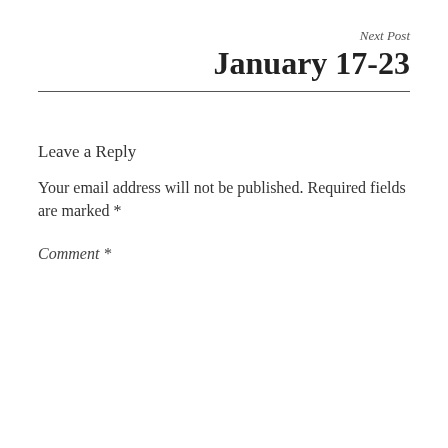Next Post
January 17-23
Leave a Reply
Your email address will not be published. Required fields are marked *
Comment *